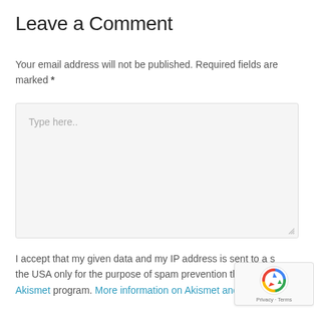Leave a Comment
Your email address will not be published. Required fields are marked *
[Figure (other): Comment textarea input field with placeholder text 'Type here..' and a resize handle at bottom right]
I accept that my given data and my IP address is sent to a s... the USA only for the purpose of spam prevention through th... Akismet program. More information on Akismet and GDPR.